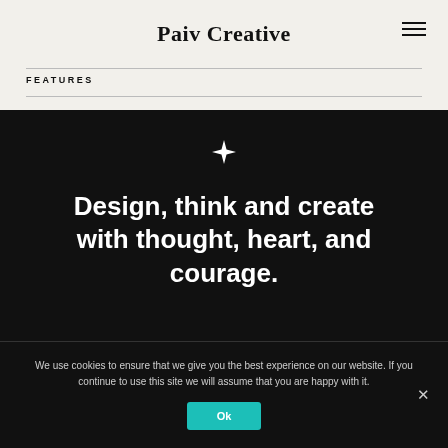Paiv Creative
FEATURES
Design, think and create with thought, heart, and courage.
We use cookies to ensure that we give you the best experience on our website. If you continue to use this site we will assume that you are happy with it.